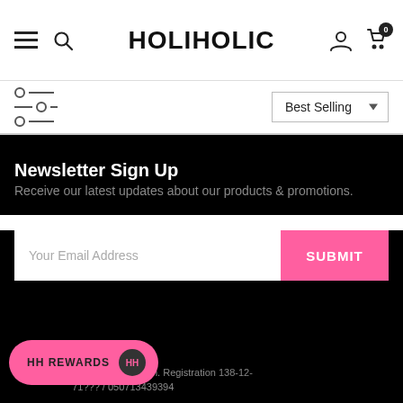HOLIHOLIC
Best Selling
Newsletter Sign Up
Receive our latest updates about our products & promotions.
Your Email Address
SUBMIT
© by Bellkim. Registration 138-12-71???/050713439394
HH REWARDS